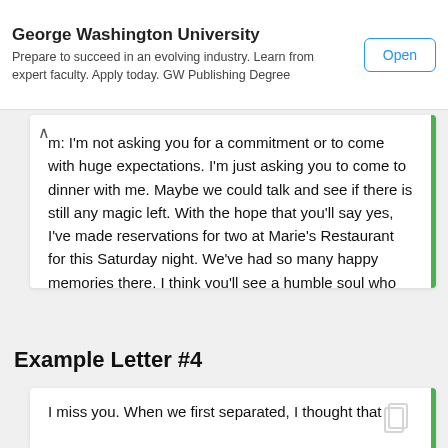George Washington University — Prepare to succeed in an evolving industry. Learn from expert faculty. Apply today. GW Publishing Degree | Open
m: I'm not asking you for a commitment or to come with huge expectations. I'm just asking you to come to dinner with me. Maybe we could talk and see if there is still any magic left. With the hope that you'll say yes, I've made reservations for two at Marie's Restaurant for this Saturday night. We've had so many happy memories there. I think you'll see a humble soul who desperately wants to change and hold onto your love. Would you agree to dinner?

I'll call you Thursday afternoon to see if you're willing.

I remember the best of our relationship.
Example Letter #4
I miss you. When we first separated, I thought that